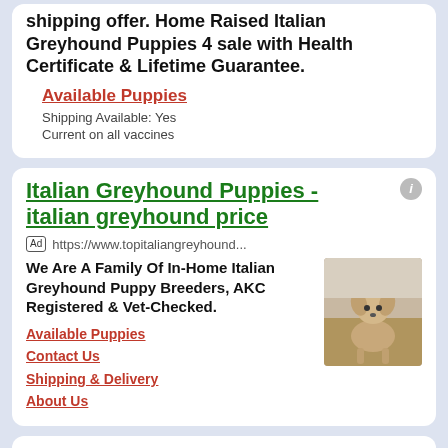shipping offer. Home Raised Italian Greyhound Puppies 4 sale with Health Certificate & Lifetime Guarantee.
Available Puppies
Shipping Available: Yes
Current on all vaccines
Italian Greyhound Puppies - italian greyhound price
Ad https://www.topitaliangreyhound...
We Are A Family Of In-Home Italian Greyhound Puppy Breeders, AKC Registered & Vet-Checked.
Available Puppies
Contact Us
Shipping & Delivery
About Us
[Figure (photo): A small Italian Greyhound puppy sitting on a wooden floor surface]
Best italian greyhound